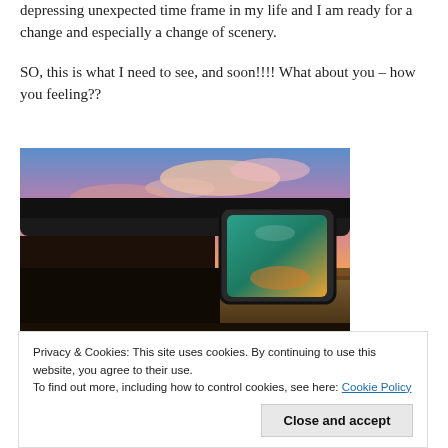depressing unexpected time frame in my life and I am ready for a change and especially a change of scenery.
SO, this is what I need to see, and soon!!!! What about you – how you feeling??
[Figure (photo): Close-up photo of a vehicle side mirror reflecting a vivid sunset sky with orange, pink, and blue hues over a flat landscape]
Privacy & Cookies: This site uses cookies. By continuing to use this website, you agree to their use. To find out more, including how to control cookies, see here: Cookie Policy
Close and accept